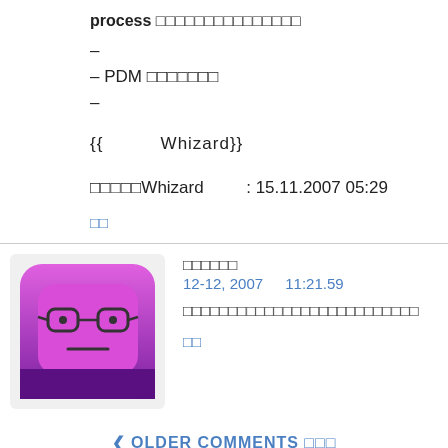process □□□□□□□□□□□□□□□
–
– PDM □□□□□□□
–
{{          Whizard}}
□□□□□Whizard        : 15.11.2007 05:29
□□
[Figure (illustration): Purple/pink cartoon avatar icon of a bespectacled square-faced character with a neutral expression]
□□□□□□
12-12, 2007   11:21.59
□□□□□□□□□□□□□□□□□□□□□□□□□□
□□
❮ OLDER COMMENTS □□□